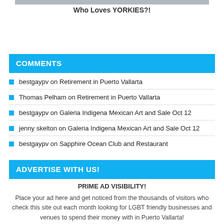[Figure (photo): Partial photo strip at top of page]
Who Loves YORKIES?!
COMMENTS
bestgaypv on Retirement in Puerto Vallarta
Thomas Pelham on Retirement in Puerto Vallarta
bestgaypv on Galeria Indigena Mexican Art and Sale Oct 12
jenny skelton on Galeria Indigena Mexican Art and Sale Oct 12
bestgaypv on Sapphire Ocean Club and Restaurant
ADVERTISE WITH US!
PRIME AD VISIBILITY!
Place your ad here and get noticed from the thousands of visitors who check this site out each month looking for LGBT friendly businesses and venues to spend their money with in Puerto Vallarta!